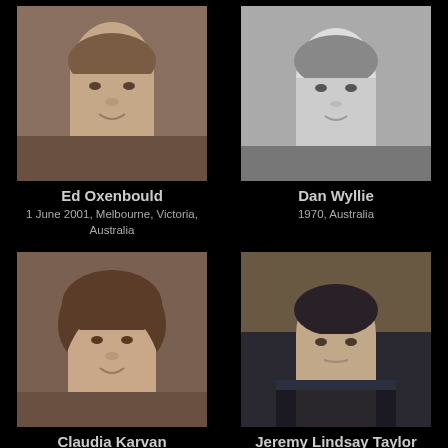[Figure (photo): Portrait photo of Ed Oxenbould, a young person with short hair]
Ed Oxenbould
1 June 2001, Melbourne, Victoria, Australia
[Figure (photo): Black and white portrait photo of Dan Wyllie]
Dan Wyllie
1970, Australia
[Figure (photo): Portrait photo of Claudia Karvan, woman with brown hair]
Claudia Karvan
19 May 1972, Sydney, New South Wales, Australia
[Figure (photo): Portrait photo of Jeremy Lindsay Taylor, man in dark suit looking serious]
Jeremy Lindsay Taylor
19 September 1973, Sydney, New South Wales, Australia
[Figure (photo): Photo of Susie Porter wearing a hat, sitting outside]
Susie Porter
[Figure (photo): Photo of Isabelle Cornish at an event with logos in background]
Isabelle Cornish
[Figure (photo): Partial portrait photo at bottom left, partially cut off]